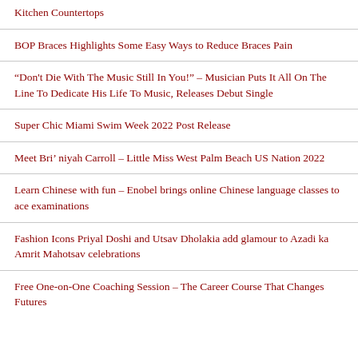Kitchen Countertops
BOP Braces Highlights Some Easy Ways to Reduce Braces Pain
“Don't Die With The Music Still In You!” – Musician Puts It All On The Line To Dedicate His Life To Music, Releases Debut Single
Super Chic Miami Swim Week 2022 Post Release
Meet Bri’ niyah Carroll – Little Miss West Palm Beach US Nation 2022
Learn Chinese with fun – Enobel brings online Chinese language classes to ace examinations
Fashion Icons Priyal Doshi and Utsav Dholakia add glamour to Azadi ka Amrit Mahotsav celebrations
Free One-on-One Coaching Session – The Career Course That Changes Futures